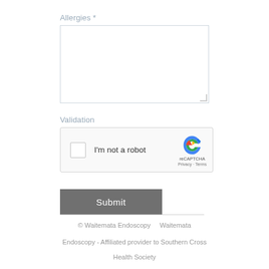Allergies *
[Figure (screenshot): Empty textarea input field for allergies with resize handle]
Validation
[Figure (screenshot): reCAPTCHA widget with checkbox labeled I'm not a robot, reCAPTCHA logo, Privacy and Terms links]
Submit
© Waitemata Endoscopy   Waitemata
Endoscopy - Affiliated provider to Southern Cross
Health Society